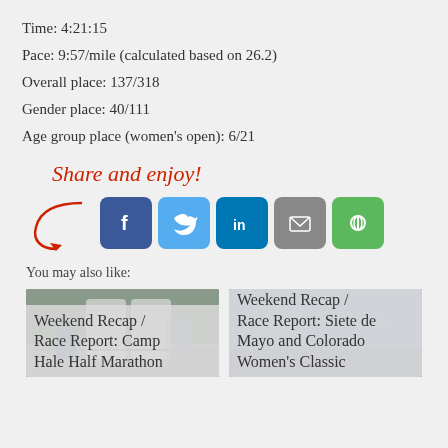Time: 4:21:15
Pace: 9:57/mile (calculated based on 26.2)
Overall place: 137/318
Gender place: 40/111
Age group place (women's open): 6/21
[Figure (infographic): Share and enjoy! text in red cursive with red arrow pointing to social media share buttons: Facebook, Twitter, LinkedIn, Email, and a green share/save button]
You may also like:
[Figure (photo): Photo of race start/finish arch in mountain setting, with text overlay: Weekend Recap / Race Report: Camp Hale Half Marathon]
[Figure (photo): Photo of race participant at event, with text overlay: Weekend Recap / Race Report: Siete de Mayo and Colorado Women's Classic]